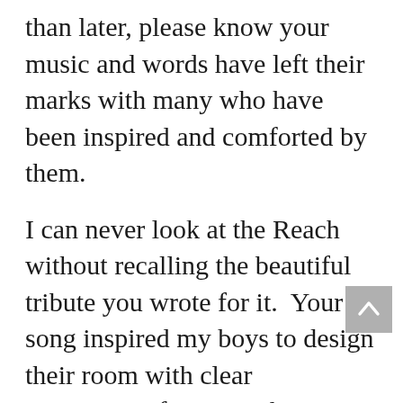than later, please know your music and words have left their marks with many who have been inspired and comforted by them.
I can never look at the Reach without recalling the beautiful tribute you wrote for it.  Your song inspired my boys to design their room with clear instructions for me on how mom will paint 'The Reach' on their walls surrounding their beds.  Each night they look